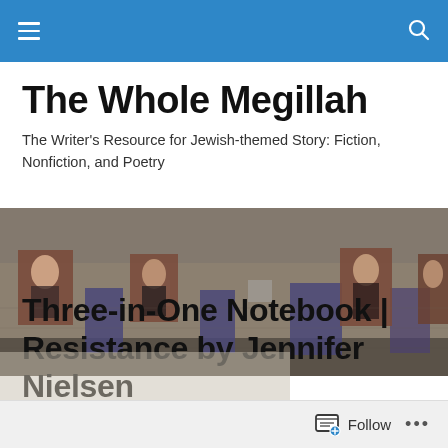navigation bar with hamburger menu and search icon
The Whole Megillah
The Writer's Resource for Jewish-themed Story: Fiction, Nonfiction, and Poetry
[Figure (photo): Photograph of a weathered brick building facade with large portrait photographs of people mounted on the exterior walls, displayed in a row. The portraits appear to be black-and-white or sepia historical photos. The building has several worn doors painted in dark blue/purple.]
Three-in-One Notebook | Resistance by Jennifer Nielsen
Follow